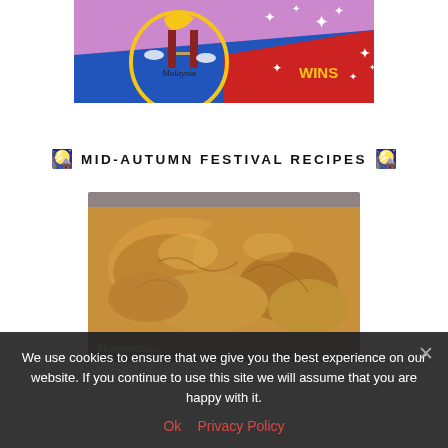[Figure (illustration): Colorful illustration banner showing Malaysia Petronas Towers at night with stars and moon, split diagonally into blue/red sections with text 'LOVE WINS' in gold/colorful letters and sparkle stars on red background]
🎑 MID-AUTUMN FESTIVAL RECIPES 🎑
[Figure (photo): Close-up photo of golden-brown traditional Malaysian or Chinese sweet food, possibly nian gao or dodol (glutinous rice cake), served on a decorative blue and white patterned plate. Partial text at bottom reads 'Homemade...' in dark overlay.]
We use cookies to ensure that we give you the best experience on our website. If you continue to use this site we will assume that you are happy with it.
Ok  Privacy Policy